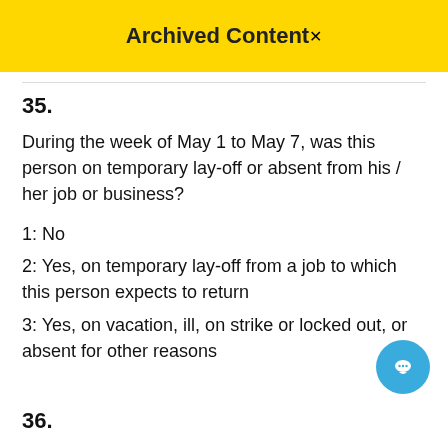Archived Content
35.
During the week of May 1 to May 7, was this person on temporary lay-off or absent from his / her job or business?
1: No
2: Yes, on temporary lay-off from a job to which this person expects to return
3: Yes, on vacation, ill, on strike or locked out, or absent for other reasons
36.